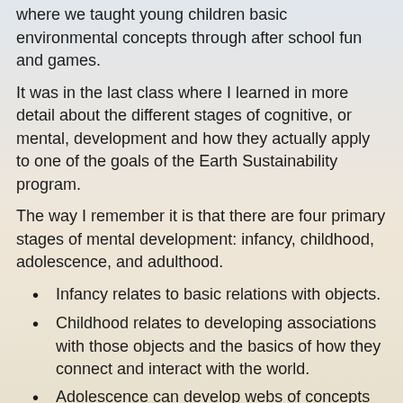where we taught young children basic environmental concepts through after school fun and games.
It was in the last class where I learned in more detail about the different stages of cognitive, or mental, development and how they actually apply to one of the goals of the Earth Sustainability program.
The way I remember it is that there are four primary stages of mental development: infancy, childhood, adolescence, and adulthood.
Infancy relates to basic relations with objects.
Childhood relates to developing associations with those objects and the basics of how they connect and interact with the world.
Adolescence can develop webs of concepts and associations with the world.
Adulthood is where multiple webs of ideas and concepts can be linked together through their associations.
Now there are a variety ...